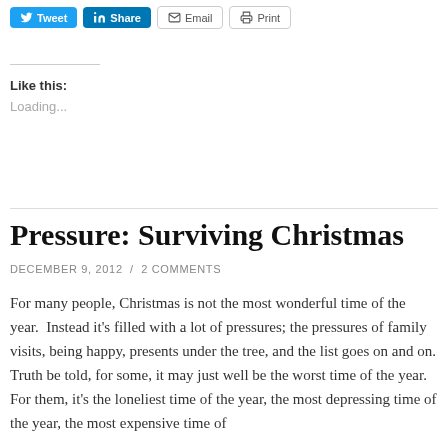[Figure (other): Social sharing buttons: Tweet (Twitter), Share (LinkedIn), Email, Print]
Like this:
Loading...
Pressure: Surviving Christmas
DECEMBER 9, 2012 / 2 COMMENTS
For many people, Christmas is not the most wonderful time of the year.  Instead it's filled with a lot of pressures; the pressures of family visits, being happy, presents under the tree, and the list goes on and on. Truth be told, for some, it may just well be the worst time of the year. For them, it's the loneliest time of the year, the most depressing time of the year, the most expensive time of